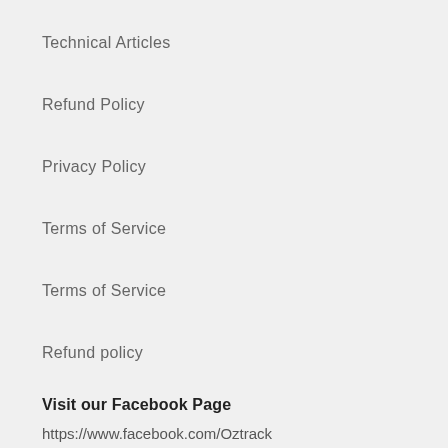Technical Articles
Refund Policy
Privacy Policy
Terms of Service
Terms of Service
Refund policy
Visit our Facebook Page
https://www.facebook.com/Oztrack